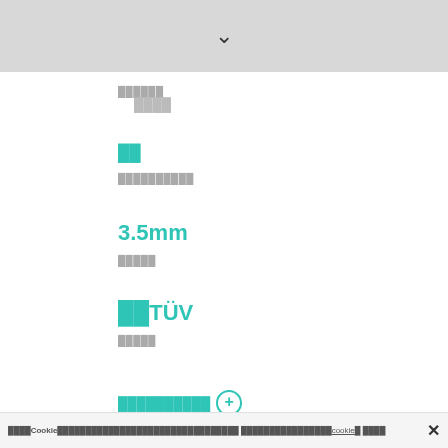[Figure (other): Top grey bar with a downward chevron/arrow icon in the center]
██████
    ████
██
██████████
3.5mm
█████
██TÜV
█████
██████████ ⊕
████Cookie████████████████████████ ████████████████cookie█ ████  ✕